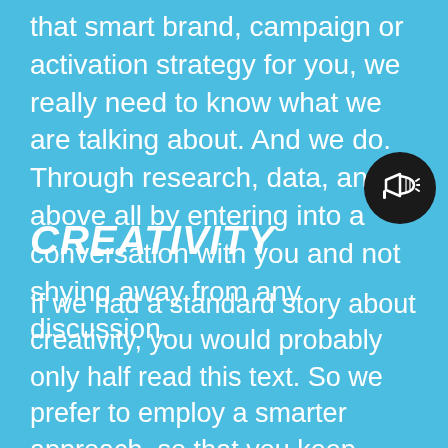that smart brand, campaign or activation strategy for you, we really need to know what we are talking about. And we do. Through research, data, and above all by entering into a conversation with you and not shying away from any discussion.
[Figure (illustration): Black circle with white megaphone/loudspeaker icon inside]
CREATIVITY
If we had a standard story about creativity, you would probably only half read this text. So we prefer to employ a smarter approach, so that you keep reading. That's why you've already arrived at the third sentence. Doing things differently to get a better effect, that's creativity. And that's what we put in all our strategies, concepts, mechanisms and designs. But always with concrete goals in mind,